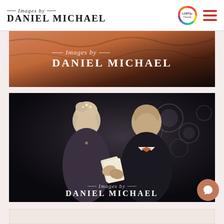Images by DANIEL MICHAEL
[Figure (photo): Photography studio banner with orange/dark fabric background and 'Images by DANIEL MICHAEL' logo overlay]
[Figure (photo): Black and white wedding photo of bride and groom smiling at each other, with bokeh lights background and 'Images by DANIEL MICHAEL' watermark]